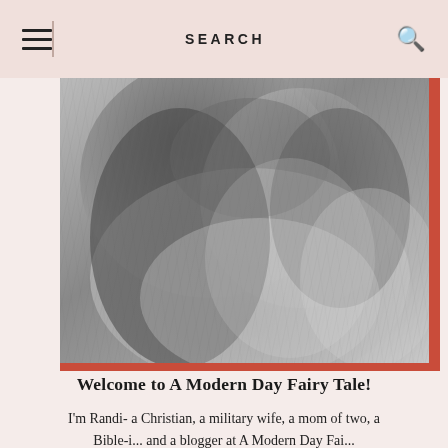SEARCH
[Figure (photo): Black and white close-up photo of a woman with long wavy hair, wearing a lace top and a jacket; hair blows around her face, partially obscuring it. Red accent border on the right and bottom edges of the photo.]
Welcome to A Modern Day Fairy Tale!
I'm Randi- a Christian, a military wife, a mom of two, a Bible-i... and a blogger at A Modern Day Fairy...